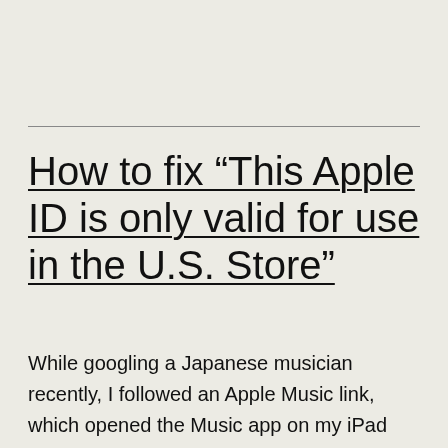How to fix “This Apple ID is only valid for use in the U.S. Store”
While googling a Japanese musician recently, I followed an Apple Music link, which opened the Music app on my iPad with this message: